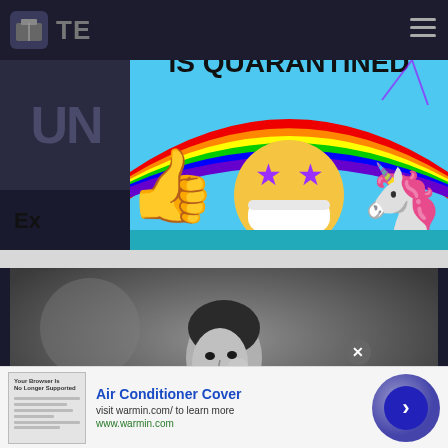[Figure (screenshot): Dark header bar with box logo icon, partial text 'TE', and hamburger menu icon]
[Figure (screenshot): Dark box on left showing partial 'UN' text block]
Ex
[Figure (illustration): Colorful quarantine meme image with bold text 'WHEN REAL LIFE IS QUARANTINED', rainbow background, thumbs up emoji, star-eyes emoji with medical mask, and unicorn emoji]
[Figure (photo): Black and white portrait photo of a man in dark clothing looking at the camera]
[Figure (screenshot): Advertisement bar at bottom: thumbnail image of a form, 'Air Conditioner Cover' in blue bold text, 'visit warmin.com/ to learn more', 'www.warmin.com' in green, circular blue CTA arrow button, and X close button]